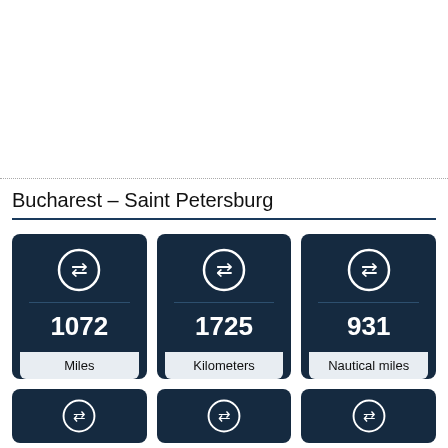Bucharest – Saint Petersburg
[Figure (infographic): Three dark navy info cards showing distance between Bucharest and Saint Petersburg: 1072 Miles, 1725 Kilometers, 931 Nautical miles, each with a bidirectional arrow icon in a circle]
[Figure (infographic): Partial row of three additional dark navy info cards (bottoms cut off)]